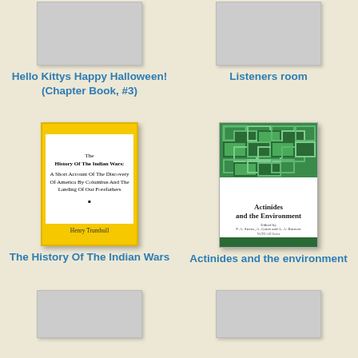[Figure (illustration): Gray placeholder book cover image, top-left]
Hello Kittys Happy Halloween! (Chapter Book, #3)
[Figure (illustration): Gray placeholder book cover image, top-right]
Listeners room
[Figure (illustration): Book cover: The History Of The Indian Wars: A Short Account Of The Discovery Of America By Columbus And The Landing Of Our Forefathers, by Henry Trumbull, yellow cover]
The History Of The Indian Wars
[Figure (illustration): Book cover: Actinides and the Environment, edited by P. A. Sterne, A. Gonis and A. A. Borovoi, green geometric pattern cover]
Actinides and the environment
[Figure (illustration): Gray placeholder book cover image, bottom-left]
[Figure (illustration): Gray placeholder book cover image, bottom-right]